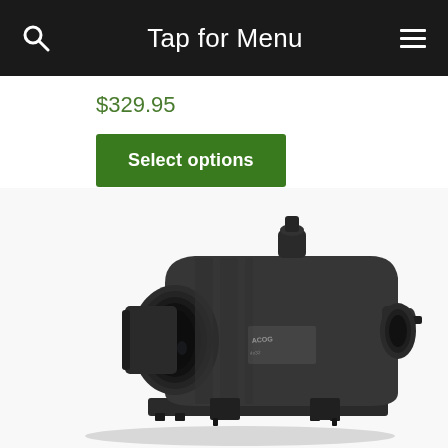Tap for Menu
$329.95
Select options
[Figure (photo): A tactical rifle scope (ACOG-style) shown in a 3/4 angle view on a white background. The scope is black/dark grey with a flip-up lens cover on the left end and a rail mount on the bottom.]